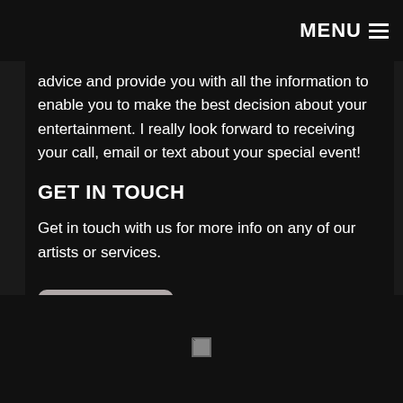MENU
advice and provide you with all the information to enable you to make the best decision about your entertainment. I really look forward to receiving your call, email or text about your special event!
GET IN TOUCH
Get in touch with us for more info on any of our artists or services.
Contact us
[Figure (logo): Small logo/image icon in footer area]